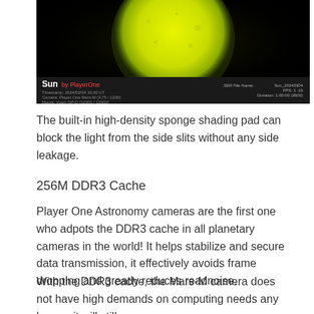[Figure (photo): Astronomy image of the Sun showing a yellow-green glowing sphere against a black background, with a label 'Sun' and credit text below]
The built-in high-density sponge shading pad can block the light from the side slits without any side leakage.
256M DDR3 Cache
Player One Astronomy cameras are the first one who adpots the DDR3 cache in all planetary cameras in the world! It helps stabilize and secure data transmission, it effectively avoids frame dropping and greatly reduces readnoise.
With the DDR3 cache, the Mars-M camera does not have high demands on computing needs any longer, it will still be excellent performance even if it is connected to a USB